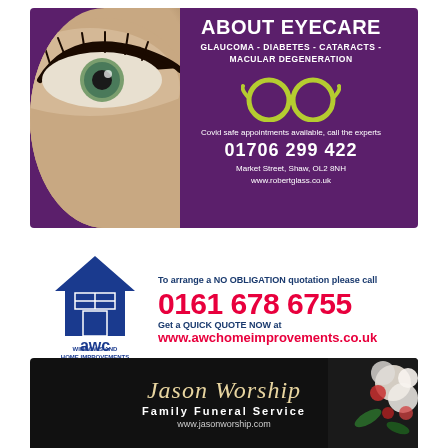[Figure (infographic): Eyecare advertisement with photo of an eye, purple background, glasses icon, text about eyecare conditions, phone number and address]
[Figure (infographic): AWC Windows and Home Improvements advertisement with blue house logo, phone number 0161 678 6755, and website www.awchomeimprovements.co.uk]
[Figure (infographic): Jason Worship Family Funeral Service advertisement with dark background, italic script logo, flowers photo, and website www.jasonworship.com]